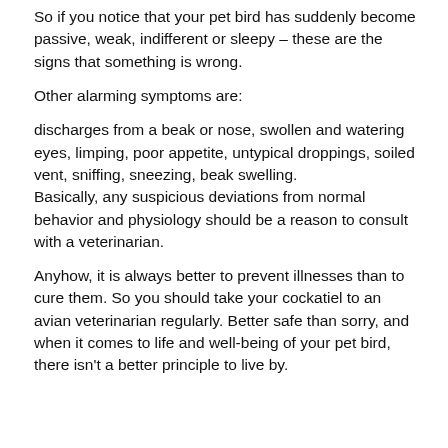So if you notice that your pet bird has suddenly become passive, weak, indifferent or sleepy – these are the signs that something is wrong.
Other alarming symptoms are:
discharges from a beak or nose, swollen and watering eyes, limping, poor appetite, untypical droppings, soiled vent, sniffing, sneezing, beak swelling. Basically, any suspicious deviations from normal behavior and physiology should be a reason to consult with a veterinarian.
Anyhow, it is always better to prevent illnesses than to cure them. So you should take your cockatiel to an avian veterinarian regularly. Better safe than sorry, and when it comes to life and well-being of your pet bird, there isn't a better principle to live by.